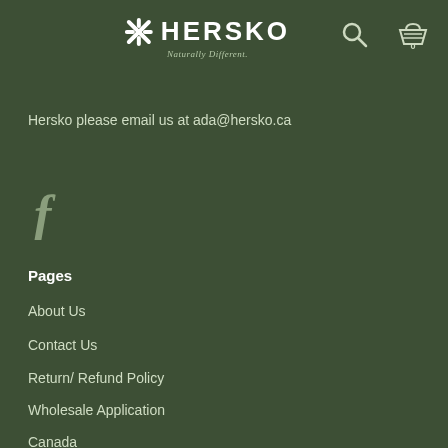HERSKO Naturally Different.
Hersko please email us at ada@hersko.ca
[Figure (logo): Facebook 'f' icon in muted green color]
Pages
About Us
Contact Us
Return/ Refund Policy
Wholesale Application
Canada
Our Brands